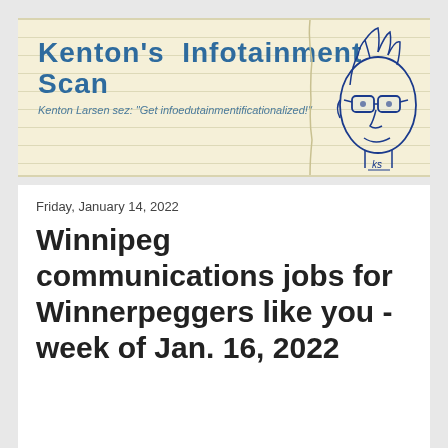[Figure (illustration): Header banner with lined notebook paper background, site title 'Kenton's Infotainment Scan' in bold blue, subtitle in smaller italic blue text, and a hand-drawn pen sketch of a man's face with spiky hair and glasses on the right side]
Friday, January 14, 2022
Winnipeg communications jobs for Winnerpeggers like you - week of Jan. 16, 2022